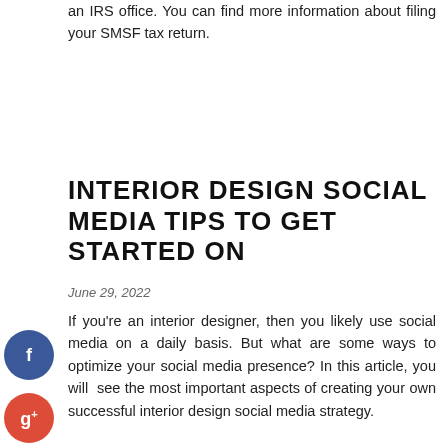an IRS office. You can find more information about filing your SMSF tax return.
INTERIOR DESIGN SOCIAL MEDIA TIPS TO GET STARTED ON
June 29, 2022
If you're an interior designer, then you likely use social media on a daily basis. But what are some ways to optimize your social media presence? In this article, you will see the most important aspects of creating your own successful interior design social media strategy.